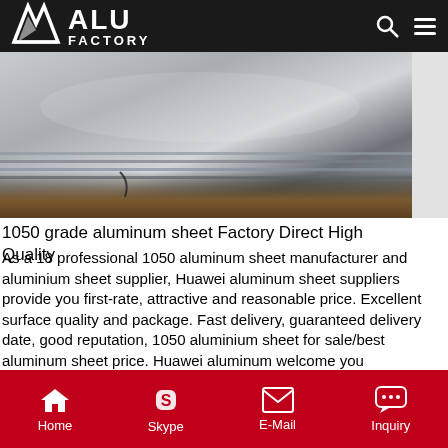ALU FACTORY
[Figure (photo): Stack of 1050 grade aluminum sheets shown from the edge, metallic grey color with brown protective packaging underneath]
1050 grade aluminum sheet Factory Direct High Quality
As a 18 professional 1050 aluminum sheet manufacturer and aluminium sheet supplier, Huawei aluminum sheet suppliers provide you first-rate, attractive and reasonable price. Excellent surface quality and package. Fast delivery, guaranteed delivery date, good reputation, 1050 aluminium sheet for sale/best aluminum sheet price. Huawei aluminum welcome you
Get Price
[Figure (photo): Blue plastic-wrapped aluminum sheets with bright white light reflections showing the surface finish]
Home   Skype   E-Mail   Inquiry